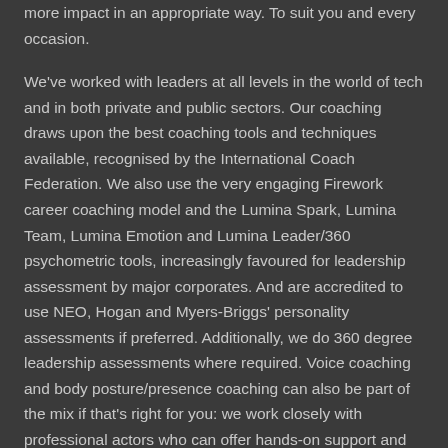more impact in an appropriate way. To suit you and every occasion.
We've worked with leaders at all levels in the world of tech and in both private and public sectors. Our coaching draws upon the best coaching tools and techniques available, recognised by the International Coach Federation. We also use the very engaging Firework career coaching model and the Lumina Spark, Lumina Team, Lumina Emotion and Lumina Leader/360 psychometric tools, increasingly favoured for leadership assessment by major corporates. And are accredited to use NEO, Hogan and Myers-Briggs' personality assessments if preferred. Additionally, we do 360 degree leadership assessments where required. Voice coaching and body posture/presence coaching can also be part of the mix if that's right for you: we work closely with professional actors who can offer hands-on support and